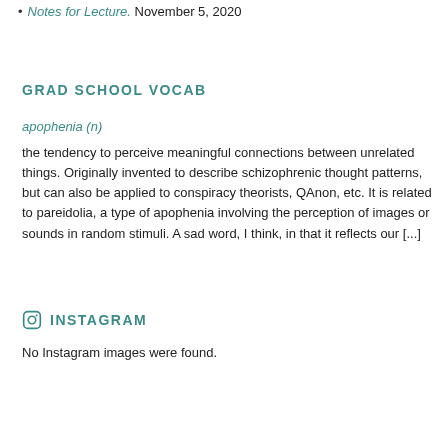Notes for Lecture. November 5, 2020
GRAD SCHOOL VOCAB
apophenia (n)
the tendency to perceive meaningful connections between unrelated things. Originally invented to describe schizophrenic thought patterns, but can also be applied to conspiracy theorists, QAnon, etc. It is related to pareidolia, a type of apophenia involving the perception of images or sounds in random stimuli. A sad word, I think, in that it reflects our [...]
INSTAGRAM
No Instagram images were found.